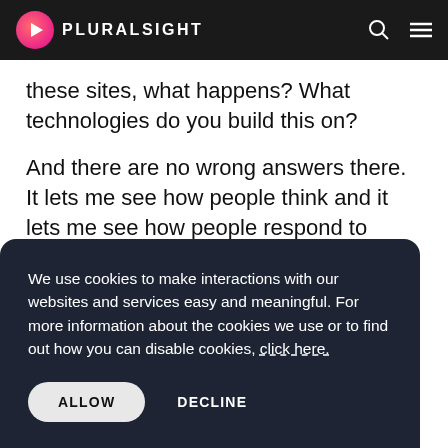PLURALSIGHT
these sites, what happens? What technologies do you build this on?
And there are no wrong answers there. It lets me see how people think and it lets me see how people respond to being challenged on some of their architectural decisions, respectfully, of
We use cookies to make interactions with our websites and services easy and meaningful. For more information about the cookies we use or to find out how you can disable cookies, click here.
ALLOW
DECLINE